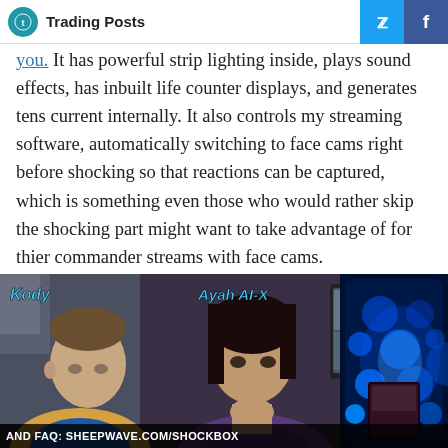Trading Posts
you. It has powerful strip lighting inside, plays sound effects, has inbuilt life counter displays, and generates tens current internally. It also controls my streaming software, automatically switching to face cams right before shocking so that reactions can be captured, which is something even those who would rather skip the shocking part might want to take advantage of for thier commander streams with face cams.
[Figure (photo): Video screenshot showing two people (labeled Kody and Ayah AI-X) at a gaming setup, with a glowing blue device on the right. Bottom bar reads: AND FAQ: SHEEPWAVE.COM/SHOCKBOX]